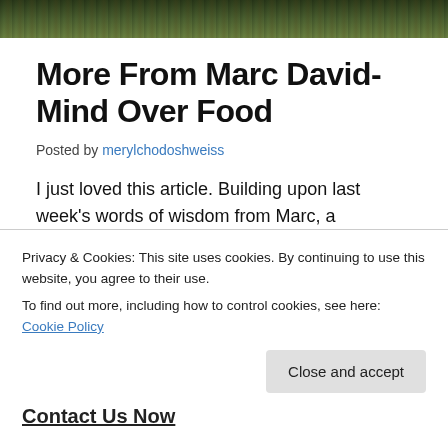[Figure (photo): Top banner photograph of trees with dark green foliage against a dark background]
More From Marc David- Mind Over Food
Posted by merylchodoshweiss
I just loved this article. Building upon last week's words of wisdom from Marc, a refreshing approach to food and eating is presented here.
It is so wonderful to have this  topic presented in a way that i...
Privacy & Cookies: This site uses cookies. By continuing to use this website, you agree to their use.
To find out more, including how to control cookies, see here: Cookie Policy
Contact Us Now